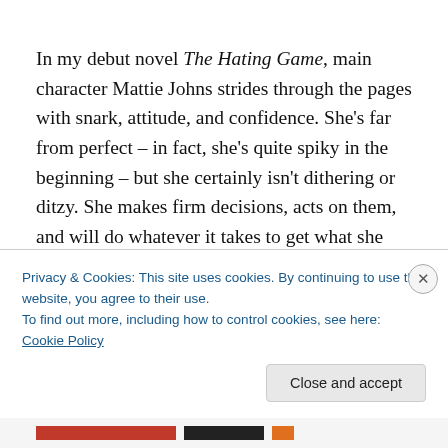In my debut novel The Hating Game, main character Mattie Johns strides through the pages with snark, attitude, and confidence. She's far from perfect – in fact, she's quite spiky in the beginning – but she certainly isn't dithering or ditzy. She makes firm decisions, acts on them, and will do whatever it takes to get what she wants. Interestingly, some readers love her while others… not so
Privacy & Cookies: This site uses cookies. By continuing to use this website, you agree to their use.
To find out more, including how to control cookies, see here: Cookie Policy
Close and accept